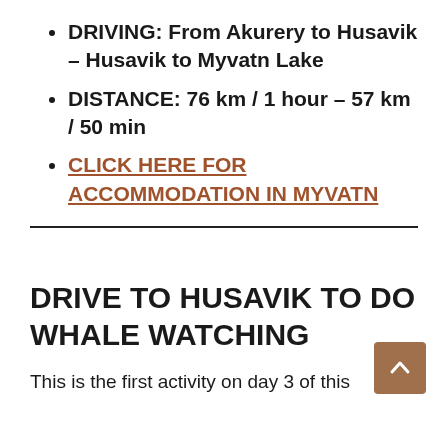DRIVING: From Akurery to Husavik – Husavik to Myvatn Lake
DISTANCE: 76 km / 1 hour – 57 km / 50 min
CLICK HERE FOR ACCOMMODATION IN MYVATN
DRIVE TO HUSAVIK TO DO WHALE WATCHING
This is the first activity on day 3 of this